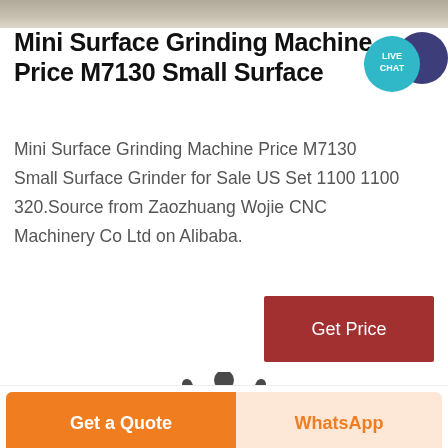[Figure (photo): Top strip image of a surface grinding machine, partially visible at the top of the page]
Mini Surface Grinding Machine Price M7130 Small Surface
[Figure (other): Live chat bubble icon — teal/navy circle with 'LIVE CHAT' text and speech bubble graphic]
Mini Surface Grinding Machine Price M7130 Small Surface Grinder for Sale US Set 1100 1100 320.Source from Zaozhuang Wojie CNC Machinery Co Ltd on Alibaba.
[Figure (other): Red 'Get Price' button]
[Figure (photo): 3D rendered image of the mini surface grinding machine, showing the top portion of the machine with mechanical arm and blue components]
[Figure (other): Orange 'Get a Quote' button and peach 'WhatsApp' button at the bottom of the page]